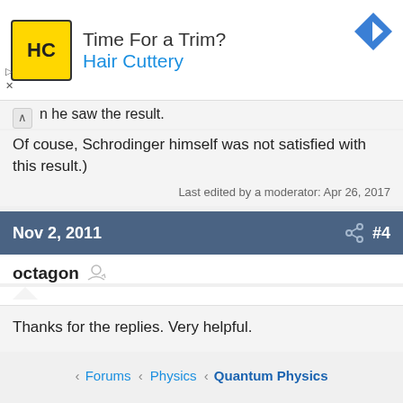[Figure (screenshot): Hair Cuttery advertisement banner with yellow HC logo and blue arrow icon]
n he saw the result.
Of couse, Schrodinger himself was not satisfied with this result.)
Last edited by a moderator: Apr 26, 2017
Nov 2, 2011  #4
octagon
Thanks for the replies. Very helpful.
Forums < Physics < Quantum Physics